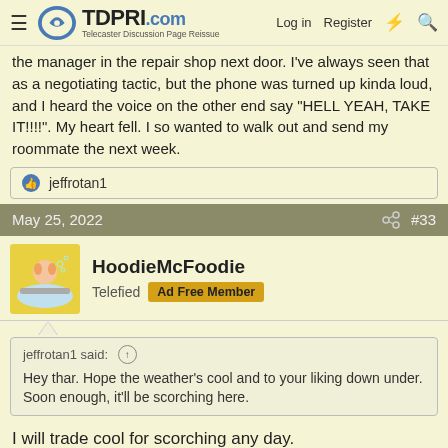TDPRI.com Telecaster Discussion Page Reissue — Log in  Register
the manager in the repair shop next door. I've always seen that as a negotiating tactic, but the phone was turned up kinda loud, and I heard the voice on the other end say "HELL YEAH, TAKE IT!!!!". My heart fell. I so wanted to walk out and send my roommate the next week.
👍 jeffrotan1
May 25, 2022  #33
HoodieMcFoodie
Telefied  Ad Free Member
jeffrotan1 said: ↑
Hey thar. Hope the weather's cool and to your liking down under. Soon enough, it'll be scorching here.
I will trade cool for scorching any day.
👍 jeffrotan1